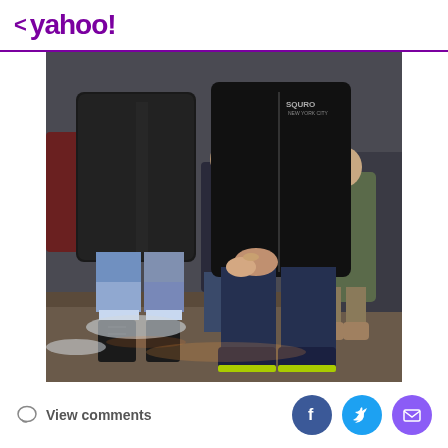< yahoo!
[Figure (photo): Two people walking and holding hands on a street at night. The person on the left wears a black fuzzy jacket and patchwork jeans with black boots. The person on the right wears a black hoodie with 'SQURO' text and dark jeans with sneakers. A third person is visible in the background.]
View comments
[Figure (logo): Social sharing icons: Facebook (blue circle with f), Twitter (light blue circle with bird), Email (purple circle with envelope)]